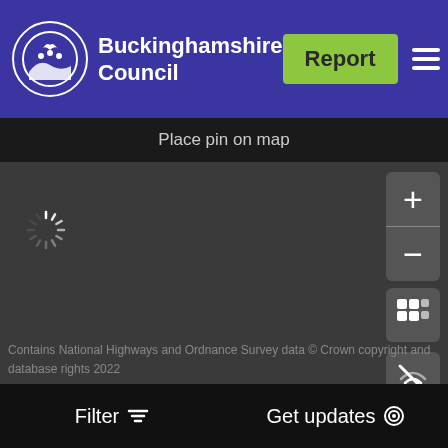[Figure (logo): Buckinghamshire Council logo with circular emblem showing a bird and hills]
Buckinghamshire Council
Report
Place pin on map
[Figure (screenshot): Dark map area with loading spinner, zoom controls (+/-), satellite view button, and layers toggle button]
Contains National Highways and Ordnance Survey data © Crown copyright and database rights 2022
Filter
Get updates